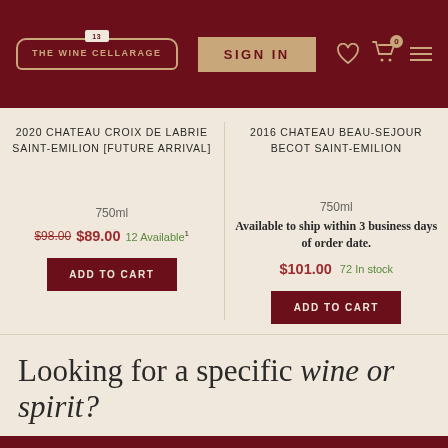THE WINE CELLARAGE | SIGN IN
2020 CHATEAU CROIX DE LABRIE SAINT-EMILION [FUTURE ARRIVAL]
750ml
$98.00 $89.00 12 Available
ADD TO CART
2016 CHATEAU BEAU-SEJOUR BECOT SAINT-EMILION
750ml
Available to ship within 3 business days of order date.
$101.00 72 In stock
ADD TO CART
Looking for a specific wine or spirit?